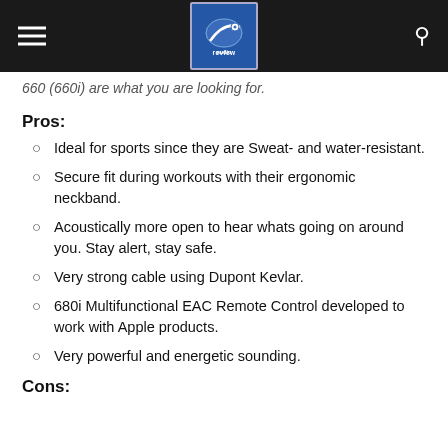audio review (logo and navigation bar)
660 (660i) are what you are looking for.
Pros:
Ideal for sports since they are Sweat- and water-resistant.
Secure fit during workouts with their ergonomic neckband.
Acoustically more open to hear whats going on around you. Stay alert, stay safe.
Very strong cable using Dupont Kevlar.
680i Multifunctional EAC Remote Control developed to work with Apple products.
Very powerful and energetic sounding.
Cons: